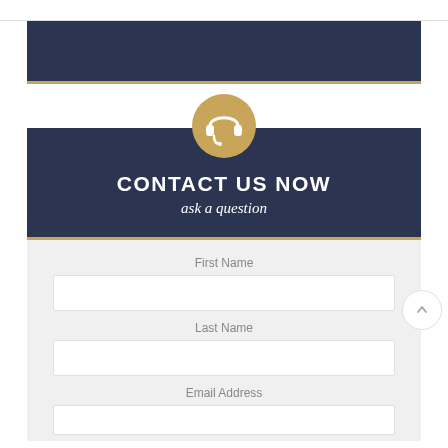[Figure (illustration): Navigation bar with dark navy background and gold bottom border]
CONTACT US NOW
ask a question
First Name
Last Name
Email Address